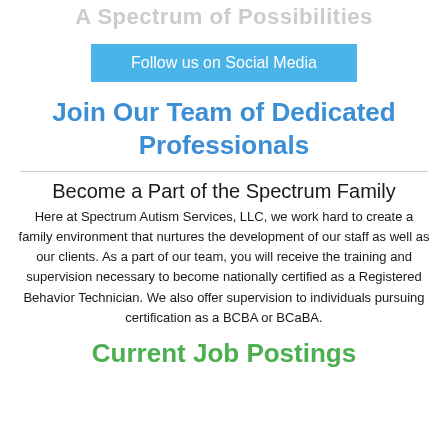A Spectrum of Possibilities
Follow us on Social Media
Join Our Team of Dedicated Professionals
Become a Part of the Spectrum Family
Here at Spectrum Autism Services, LLC, we work hard to create a family environment that nurtures the development of our staff as well as our clients. As a part of our team, you will receive the training and supervision necessary to become nationally certified as a Registered Behavior Technician. We also offer supervision to individuals pursuing certification as a BCBA or BCaBA.
Current Job Postings